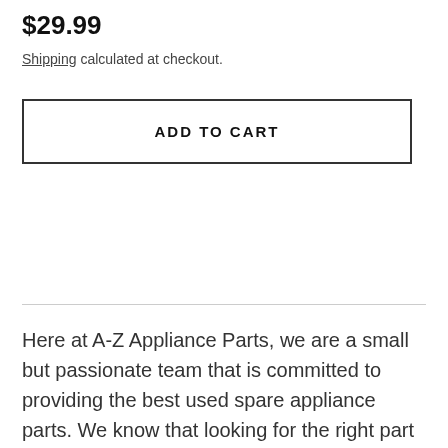$29.99
Shipping calculated at checkout.
ADD TO CART
Here at A-Z Appliance Parts, we are a small but passionate team that is committed to providing the best used spare appliance parts. We know that looking for the right part can be like looking for a needle in a haystack, and we want to make that